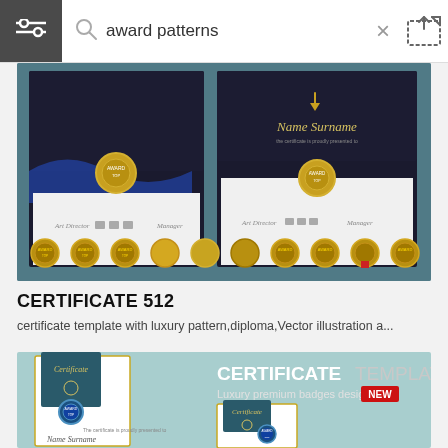award patterns
[Figure (illustration): Certificate template with luxury gold badges on teal/dark background, showing two certificate designs and a row of gold medallion badges]
CERTIFICATE 512
certificate template with luxury pattern,diploma,Vector illustration a...
[Figure (illustration): Second certificate template showing luxury design with blue badge, teal and white colors, and text CERTIFICATE TEMPLATE Luxury premium badges design NEW]